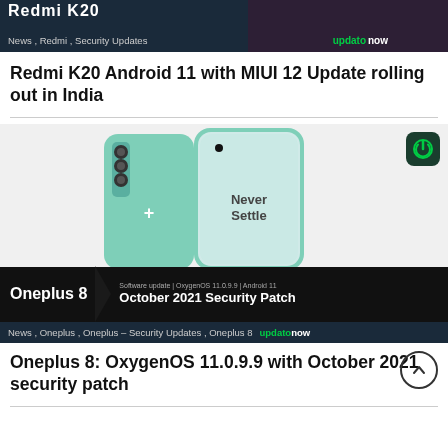[Figure (screenshot): Redmi K20 news banner with dark background and updato now branding]
News , Redmi , Security Updates
Redmi K20 Android 11 with MIUI 12 Update rolling out in India
[Figure (photo): OnePlus 8 smartphone in mint green color showing Never Settle on screen, with OxygenOS October 2021 Security Patch banner overlay]
News , Oneplus , Oneplus – Security Updates , Oneplus 8
Oneplus 8: OxygenOS 11.0.9.9 with October 2021 security patch